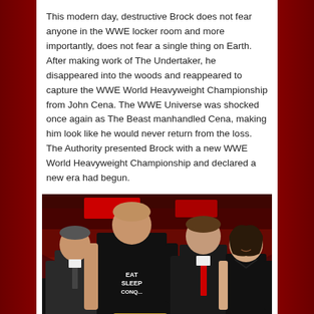This modern day, destructive Brock does not fear anyone in the WWE locker room and more importantly, does not fear a single thing on Earth. After making work of The Undertaker, he disappeared into the woods and reappeared to capture the WWE World Heavyweight Championship from John Cena. The WWE Universe was shocked once again as The Beast manhandled Cena, making him look like he would never return from the loss. The Authority presented Brock with a new WWE World Heavyweight Championship and declared a new era had begun.
[Figure (photo): Four people posing on a WWE event stage: Paul Heyman in a dark suit on the left, Brock Lesnar in the center wearing an 'Eat Sleep Conquer' black shirt holding the WWE World Heavyweight Championship belt, Triple H in a suit with a red tie, and Stephanie McMahon in a black dress on the right.]